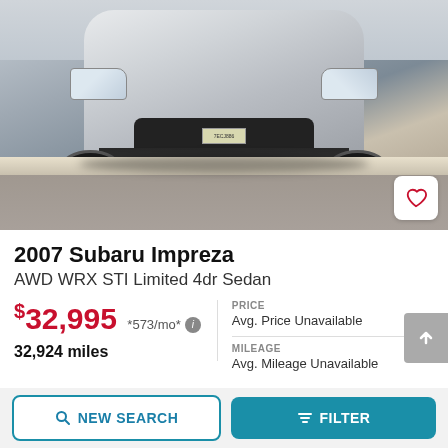[Figure (photo): Front view of a silver 2007 Subaru Impreza WRX STI parked on pavement near a curb, photographed from slightly above and in front.]
2007 Subaru Impreza AWD WRX STI Limited 4dr Sedan
$32,995 *573/mo* — 32,924 miles
PRICE
Avg. Price Unavailable
MILEAGE
Avg. Mileage Unavailable
AE Of Miami
Miami, FL
NEW SEARCH
FILTER